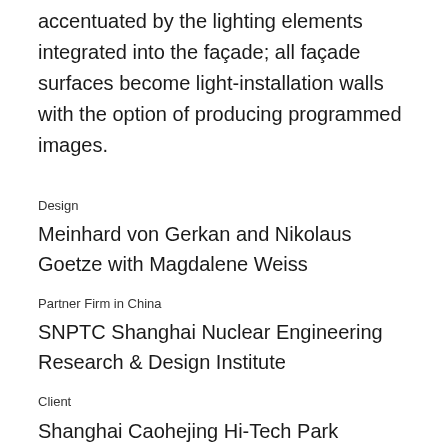accentuated by the lighting elements integrated into the façade; all façade surfaces become light-installation walls with the option of producing programmed images.
Design
Meinhard von Gerkan and Nikolaus Goetze with Magdalene Weiss
Partner Firm in China
SNPTC Shanghai Nuclear Engineering Research & Design Institute
Client
Shanghai Caohejing Hi-Tech Park Development Corporation
Location